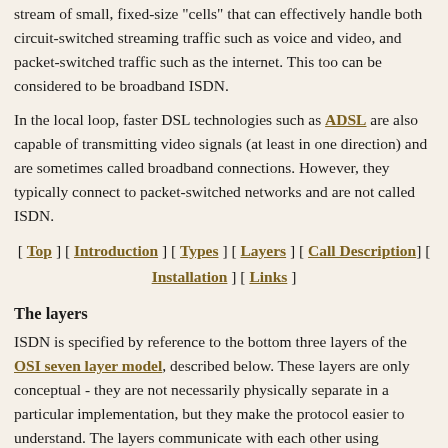stream of small, fixed-size "cells" that can effectively handle both circuit-switched streaming traffic such as voice and video, and packet-switched traffic such as the internet. This too can be considered to be broadband ISDN.
In the local loop, faster DSL technologies such as ADSL are also capable of transmitting video signals (at least in one direction) and are sometimes called broadband connections. However, they typically connect to packet-switched networks and are not called ISDN.
[ Top ] [ Introduction ] [ Types ] [ Layers ] [ Call Description] [ Installation ] [ Links ]
The layers
ISDN is specified by reference to the bottom three layers of the OSI seven layer model, described below. These layers are only conceptual - they are not necessarily physically separate in a particular implementation, but they make the protocol easier to understand. The layers communicate with each other using similarly conceptual messages called "primitives".